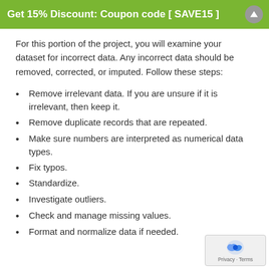Get 15% Discount: Coupon code [ SAVE15 ]
For this portion of the project, you will examine your dataset for incorrect data. Any incorrect data should be removed, corrected, or imputed. Follow these steps:
Remove irrelevant data. If you are unsure if it is irrelevant, then keep it.
Remove duplicate records that are repeated.
Make sure numbers are interpreted as numerical data types.
Fix typos.
Standardize.
Investigate outliers.
Check and manage missing values.
Format and normalize data if needed.